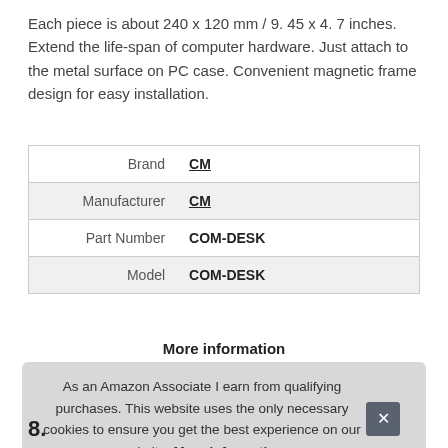Each piece is about 240 x 120 mm / 9. 45 x 4. 7 inches. Extend the life-span of computer hardware. Just attach to the metal surface on PC case. Convenient magnetic frame design for easy installation.
|  |  |
| --- | --- |
| Brand | CM |
| Manufacturer | CM |
| Part Number | COM-DESK |
| Model | COM-DESK |
More information
As an Amazon Associate I earn from qualifying purchases. This website uses the only necessary cookies to ensure you get the best experience on our website. More information
8.